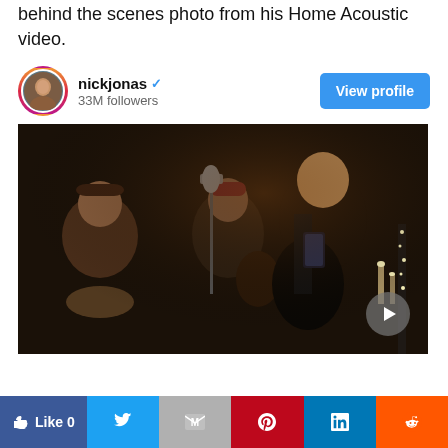behind the scenes photo from his Home Acoustic video.
[Figure (screenshot): Instagram profile card for nickjonas showing username, verified badge, 33M followers, and a View profile button]
[Figure (photo): Photo of Nick Jonas and two other musicians in a dark studio setting, one holding a guitar and looking at a phone, another playing acoustic guitar, and a third near a drum set, with a microphone and candles visible in the background. A play button overlay is in the bottom right.]
[Figure (screenshot): Social sharing bar with Like 0 (Facebook), Twitter, Gmail, Pinterest, LinkedIn, and Reddit buttons]